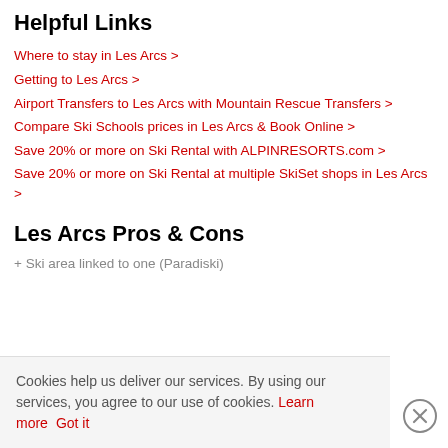Helpful Links
Where to stay in Les Arcs >
Getting to Les Arcs >
Airport Transfers to Les Arcs with Mountain Rescue Transfers >
Compare Ski Schools prices in Les Arcs & Book Online >
Save 20% or more on Ski Rental with ALPINRESORTS.com >
Save 20% or more on Ski Rental at multiple SkiSet shops in Les Arcs >
Les Arcs Pros & Cons
Ski area linked to one (Paradiski)
Cookies help us deliver our services. By using our services, you agree to our use of cookies. Learn more Got it